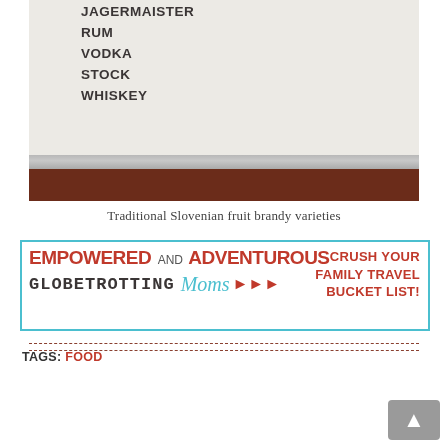[Figure (photo): Close-up photo of a printed list on fabric/whiteboard showing liquor names: JAGERMAISTER, RUM, VODKA, STOCK, WHISKEY. Below the whiteboard is a dark brown leather binder.]
Traditional Slovenian fruit brandy varieties
[Figure (infographic): Banner advertisement for 'Empowered and Adventurous Globetrotting Moms' with cyan border and red text reading 'CRUSH YOUR FAMILY TRAVEL BUCKET LIST!']
TAGS: FOOD